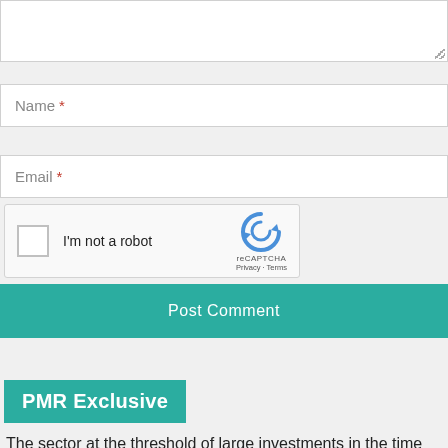[Figure (screenshot): Partial textarea input field with resize handle at bottom right]
Name *
Email *
[Figure (other): reCAPTCHA widget with checkbox labeled 'I'm not a robot', reCAPTCHA logo, Privacy and Terms links]
Post Comment
PMR Exclusive
The sector at the threshold of large investments in the time